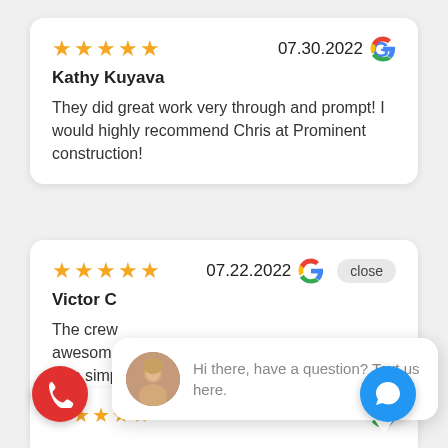[Figure (screenshot): Review card 1: 5 stars, date 07.30.2022, Google logo, reviewer Kathy Kuyava, review text about great work]
Kathy Kuyava
They did great work very through and prompt! I would highly recommend Chris at Prominent construction!
[Figure (screenshot): Review card 2: 5 stars, date 07.22.2022, Google logo, close button, reviewer Victor C, review text partially hidden by chat popup]
Victor C
The crew ... awesome ... was simple. Very happy with the results.
[Figure (infographic): Chat popup overlay with avatar photo and text: Hi there, have a question? Text us here.]
Hi there, have a question? Text us here.
[Figure (infographic): Red phone button and blue chat button at bottom, partial third review card with 5 stars and date 06.30.2022]